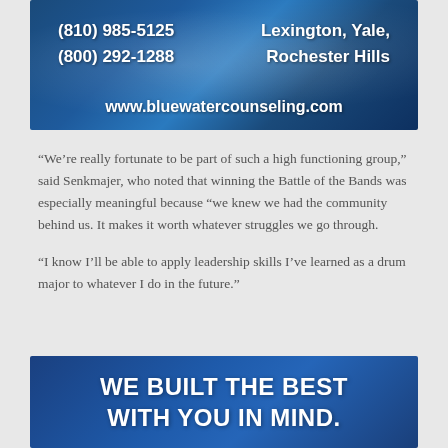[Figure (other): Blue water counseling advertisement banner with water background showing phone numbers (810) 985-5125 and (800) 292-1288 on the left, Lexington, Yale, Rochester Hills on the right, and www.bluewatercounseling.com at the bottom]
“We’re really fortunate to be part of such a high functioning group,” said Senkmajer, who noted that winning the Battle of the Bands was especially meaningful because “we knew we had the community behind us. It makes it worth whatever struggles we go through.
“I know I’ll be able to apply leadership skills I’ve learned as a drum major to whatever I do in the future.”
[Figure (other): Blue advertisement banner with text: WE BUILT THE BEST WITH YOU IN MIND.]